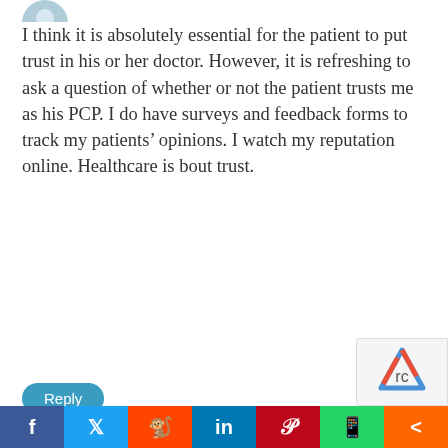[Figure (photo): Partial avatar image at top left, cropped circle]
I think it is absolutely essential for the patient to put trust in his or her doctor. However, it is refreshing to ask a question of whether or not the patient trusts me as his PCP. I do have surveys and feedback forms to track my patients' opinions. I watch my reputation online. Healthcare is bout trust.
Reply
[Figure (illustration): Generic user avatar icon (gray circle with person silhouette) for user midlynn]
midlynn
Apr 20, 2012 at 12:10 pm
There's a great product out there to help with your medication management needs. No more pill boxes or zip-lock bags for your pills. Check it out http://www.mymedbox.net